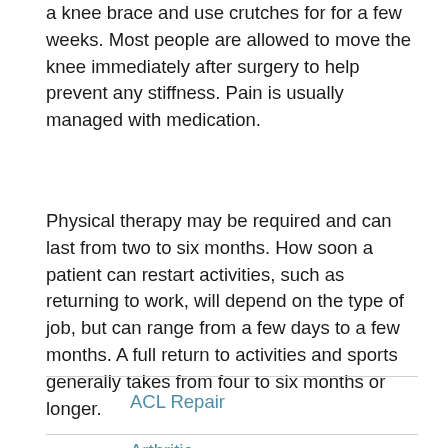a knee brace and use crutches for for a few weeks. Most people are allowed to move the knee immediately after surgery to help prevent any stiffness. Pain is usually managed with medication.
Physical therapy may be required and can last from two to six months. How soon a patient can restart activities, such as returning to work, will depend on the type of job, but can range from a few days to a few months. A full return to activities and sports generally takes from four to six months or longer.
ACL Repair
Arthritic